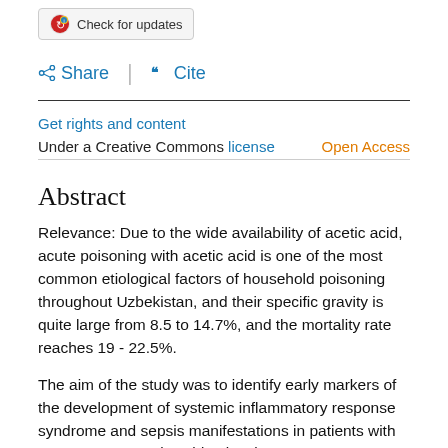[Figure (logo): Check for updates button with circular icon]
Share   Cite
Get rights and content
Under a Creative Commons license   Open Access
Abstract
Relevance: Due to the wide availability of acetic acid, acute poisoning with acetic acid is one of the most common etiological factors of household poisoning throughout Uzbekistan, and their specific gravity is quite large from 8.5 to 14.7%, and the mortality rate reaches 19 - 22.5%.
The aim of the study was to identify early markers of the development of systemic inflammatory response syndrome and sepsis manifestations in patients with severe acute acetic acid poisoning.